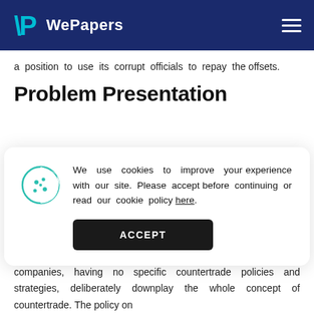WePapers
a position to use its corrupt officials to repay the offsets.
Problem Presentation
[Figure (screenshot): Cookie consent banner overlay with cookie icon, text about cookie policy, and ACCEPT button]
management mechanisms to their advantage. Some U.S. companies, having no specific countertrade policies and strategies, deliberately downplay the whole concept of countertrade. The policy on